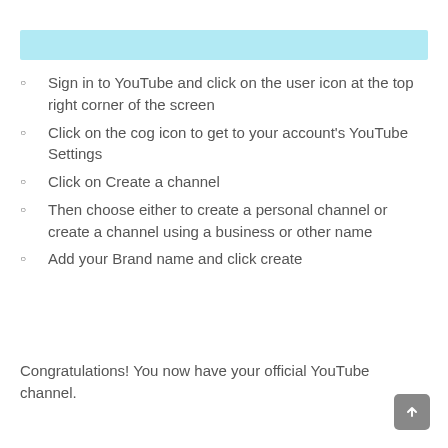[Figure (other): Light blue horizontal bar/banner at the top of the content area]
Sign in to YouTube and click on the user icon at the top right corner of the screen
Click on the cog icon to get to your account's YouTube Settings
Click on Create a channel
Then choose either to create a personal channel or create a channel using a business or other name
Add your Brand name and click create
Congratulations! You now have your official YouTube channel.